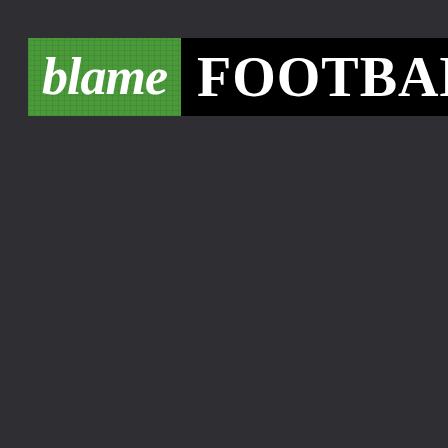[Figure (logo): Blame Football logo: 'blame' in bold italic white text on green grass-textured background, 'FOOTBALL' in bold white serif text on black background]